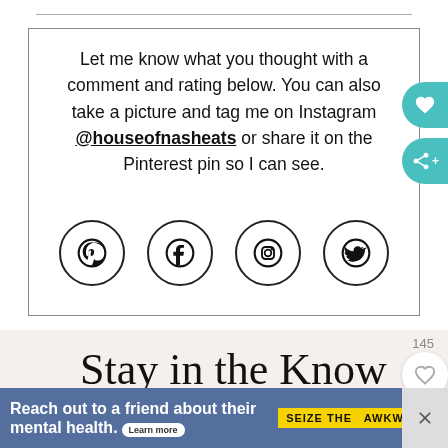Let me know what you thought with a comment and rating below. You can also take a picture and tag me on Instagram @houseofnasheats or share it on the Pinterest pin so I can see.
[Figure (infographic): Four social media icon circles: Pinterest, Facebook, Instagram, Twitter]
[Figure (other): Cursive script text reading 'Stay in the Know']
FIRST NAME
[Figure (infographic): Ad banner: Reach out to a friend about their mental health. Learn more. SEIZE THE AWKWARD.]